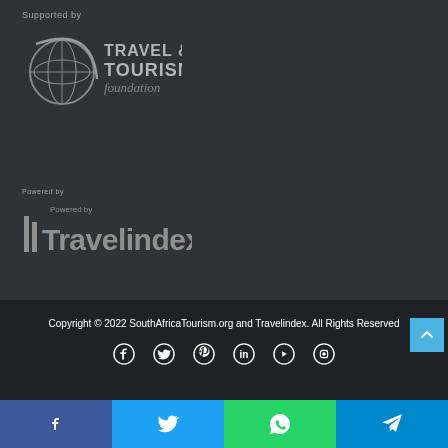Supported by
[Figure (logo): Travel & Tourism Foundation logo - globe icon with text TRAVEL & TOURISM foundation in grey on dark background]
Powered by
[Figure (logo): Travelindex logo - bold grey text Travelindex with small 'Powered by' above on dark background]
Copyright © 2022 SouthAfricaTourism.org and Travelindex. All Rights Reserved
[Figure (infographic): Social media icons row: Facebook, Twitter, Pinterest, LinkedIn, YouTube, Instagram - white icons on dark background]
[Figure (infographic): Bottom share bar with four buttons: Facebook (blue), Twitter (light blue), WhatsApp (green), Telegram (cyan) each with respective icons]